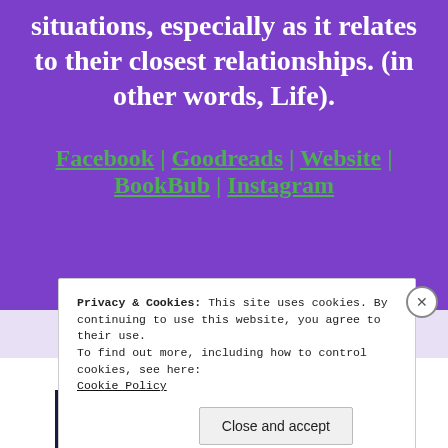situations, especially as it relates to their closest relationships. (in other words, Life).
Facebook | Goodreads | Website | BookBub | Instagram
Privacy & Cookies: This site uses cookies. By continuing to use this website, you agree to their use.
To find out more, including how to control cookies, see here:
Cookie Policy
Close and accept
Your site.
Built by us. Built for you.
Built By